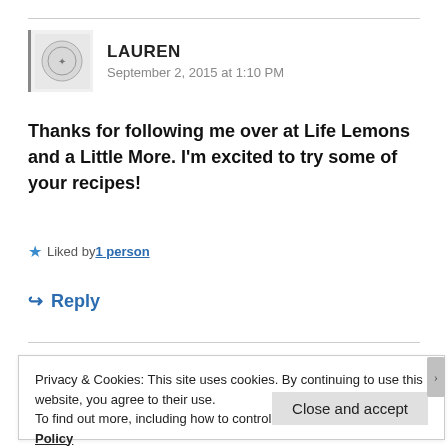[Figure (logo): User avatar with seal/badge icon, bordered on left side]
LAUREN
September 2, 2015 at 1:10 PM
Thanks for following me over at Life Lemons and a Little More. I’m excited to try some of your recipes!
★ Liked by 1 person
↪ Reply
Privacy & Cookies: This site uses cookies. By continuing to use this website, you agree to their use.
To find out more, including how to control cookies, see here: Cookie Policy
Close and accept